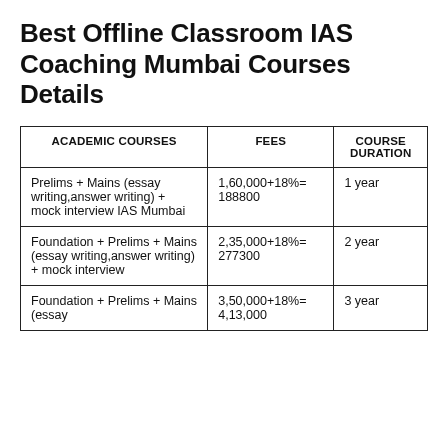Best Offline Classroom IAS Coaching Mumbai Courses Details
| ACADEMIC COURSES | FEES | COURSE DURATION |
| --- | --- | --- |
| Prelims + Mains (essay writing,answer writing) + mock interview IAS Mumbai | 1,60,000+18%= 188800 | 1 year |
| Foundation + Prelims + Mains (essay writing,answer writing) + mock interview | 2,35,000+18%= 277300 | 2 year |
| Foundation + Prelims + Mains (essay | 3,50,000+18%= 4,13,000 | 3 year |